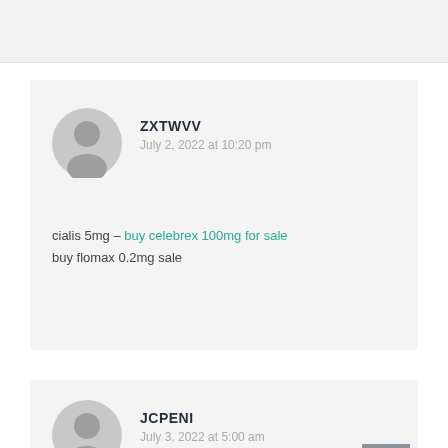ZXTWVV
July 2, 2022 at 10:20 pm
cialis 5mg – buy celebrex 100mg for sale buy flomax 0.2mg sale
JCPENI
July 3, 2022 at 5:00 am